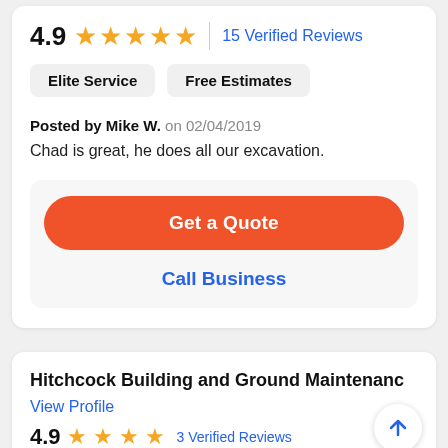4.9 ★★★★★ | 15 Verified Reviews
Elite Service   Free Estimates
Posted by Mike W. on 02/04/2019
Chad is great, he does all our excavation.
Get a Quote
Call Business
Hitchcock Building and Ground Maintenance
View Profile